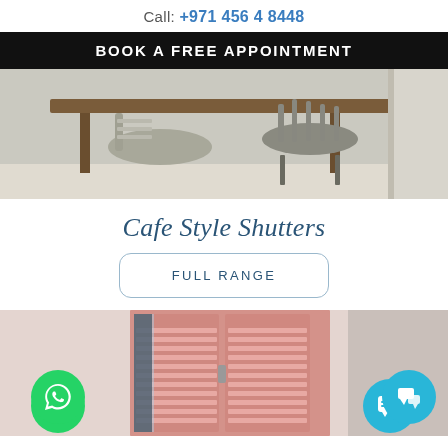Call: +971 456 4 8448
BOOK A FREE APPOINTMENT
[Figure (photo): Photo of dining chairs and a wooden table, light interior]
Cafe Style Shutters
FULL RANGE
[Figure (photo): Photo of pink cafe-style shutters on a window in a light interior with WhatsApp and chat buttons overlaid]